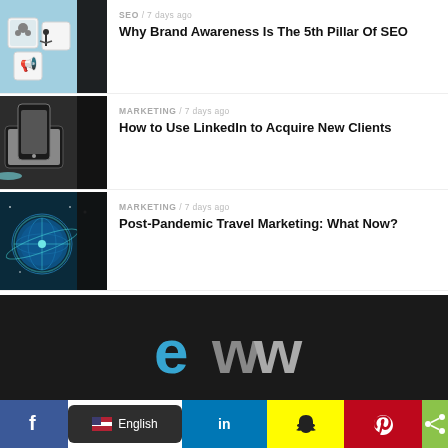[Figure (photo): Wooden blocks with SEO/marketing icons on blue background]
SEO / 7 days ago
Why Brand Awareness Is The 5th Pillar Of SEO
[Figure (photo): Smartphone and laptop on desk with blue earphones]
MARKETING / 7 days ago
How to Use LinkedIn to Acquire New Clients
[Figure (photo): Digital globe on dark teal background with network lines]
MARKETING / 7 days ago
Post-Pandemic Travel Marketing: What Now?
[Figure (logo): eww logo in blue and gray on dark background]
f English in [snapchat] [pinterest] [share]